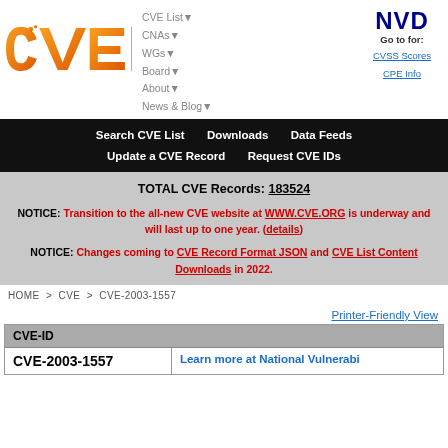[Figure (logo): CVE orange gradient logo]
CVE List▼  CNAs▼  WGs▼  Board▼  About▼  News & Blog▼
[Figure (logo): NVD dark blue logo with Go to for: CVSS Scores, CPE Info]
Search CVE List    Downloads    Data Feeds    Update a CVE Record    Request CVE IDs
TOTAL CVE Records: 183524
NOTICE: Transition to the all-new CVE website at WWW.CVE.ORG is underway and will last up to one year. (details)
NOTICE: Changes coming to CVE Record Format JSON and CVE List Content Downloads in 2022.
HOME > CVE > CVE-2003-1557
Printer-Friendly View
| CVE-ID |
| --- |
| CVE-2003-1557 | Learn more at National Vulnerabi... |